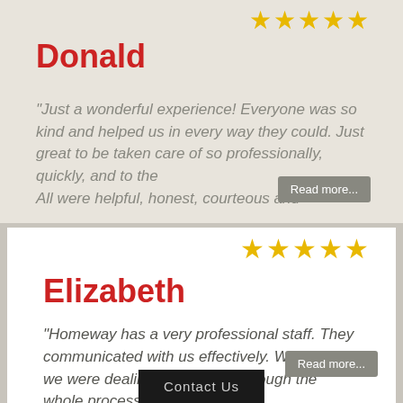[Figure (other): Five gold stars rating for Donald's review]
Donald
"Just a wonderful experience! Everyone was so kind and helped us in every way they could. Just great to be taken care of so professionally, quickly, and to the… All were helpful, honest, courteous and
[Figure (other): Five gold stars rating for Elizabeth's review]
Elizabeth
"Homeway has a very professional staff. They communicated with us effectively. We felt like we were dealing with friends through the whole process."
Contact Us